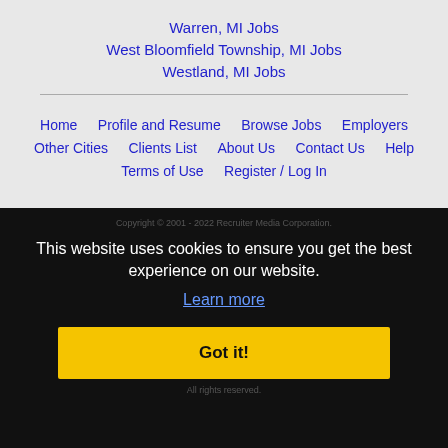Warren, MI Jobs
West Bloomfield Township, MI Jobs
Westland, MI Jobs
Home  Profile and Resume  Browse Jobs  Employers  Other Cities  Clients List  About Us  Contact Us  Help  Terms of Use  Register / Log In
Copyright © 2001 - 2022 Recruiter Media Corporation. All rights reserved.
This website uses cookies to ensure you get the best experience on our website. Learn more Got it!